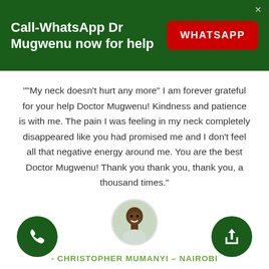Call-WhatsApp Dr Mugwenu now for help
""My neck doesn't hurt any more" I am forever grateful for your help Doctor Mugwenu! Kindness and patience is with me. The pain I was feeling in my neck completely disappeared like you had promised me and I don't feel all that negative energy around me. You are the best Doctor Mugwenu! Thank you thank you, thank you, a thousand times."
[Figure (photo): Circular avatar photo of a smiling man]
- CHRISTOPHER MUMANYI – NAIROBI